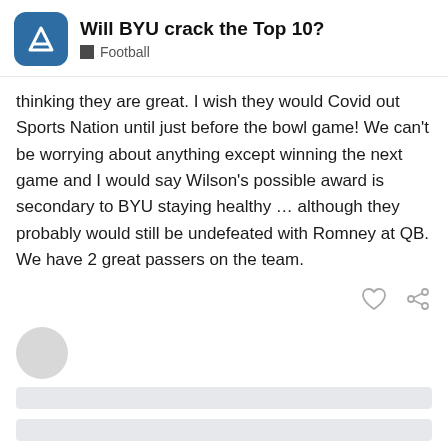Will BYU crack the Top 10? Football
thinking they are great. I wish they would Covid out Sports Nation until just before the bowl game! We can't be worrying about anything except winning the next game and I would say Wilson's possible award is secondary to BYU staying healthy … although they probably would still be undefeated with Romney at QB. We have 2 great passers on the team.
[Figure (other): Like and share action icons]
[Figure (other): Loading skeleton: user avatar circle and three loading bars for next post]
[Figure (other): Page indicator showing 18 / 35 with user avatar]